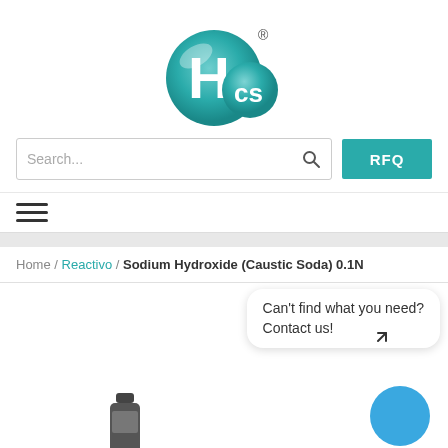[Figure (logo): HCS company logo - teal/green sphere with white letter H and smaller sphere with 'cs' text, with registered trademark symbol]
Search...
RFQ
Home / Reactivo / Sodium Hydroxide (Caustic Soda) 0.1N
Can't find what you need? Contact us!
[Figure (photo): Partial view of a chemical bottle/container at the bottom of the page]